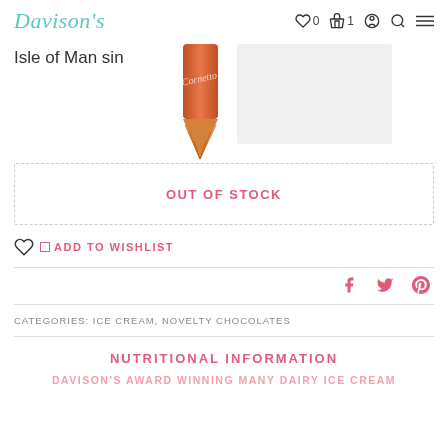Davison's — navigation with wishlist (0), cart (1), account, search, menu
Isle of Man sin
[Figure (photo): Strawberry Cornetto-style ice cream cone product image]
OUT OF STOCK
ADD TO WISHLIST
f  t  p — Facebook, Twitter, Pinterest share icons
CATEGORIES: ICE CREAM, NOVELTY CHOCOLATES
NUTRITIONAL INFORMATION
DAVISON'S AWARD WINNING MANY DAIRY ICE CREAM